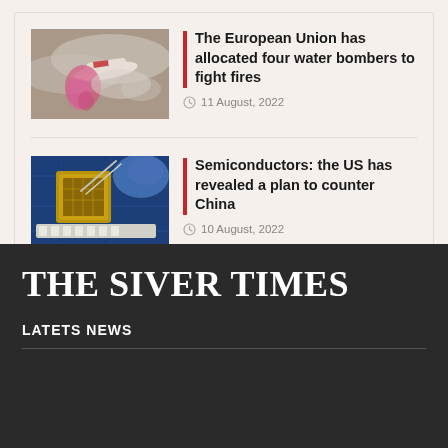[Figure (photo): A red and white airplane dropping pink/red fire retardant against a smoky sky]
The European Union has allocated four water bombers to fight fires
11 August, 2022
[Figure (photo): Close-up of semiconductor chip being worked on with blue-gloved hands and circuit board]
Semiconductors: the US has revealed a plan to counter China
10 August, 2022
THE SIVER TIMES
LATETS NEWS